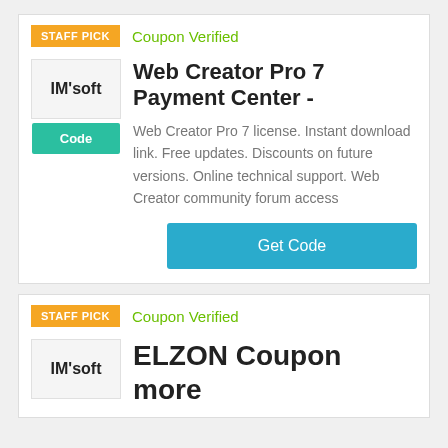[Figure (screenshot): Coupon listing card 1: Staff Pick badge, Coupon Verified label, IM'soft logo, Code button, product title and description, Get Code button]
Web Creator Pro 7 Payment Center -
Web Creator Pro 7 license. Instant download link. Free updates. Discounts on future versions. Online technical support. Web Creator community forum access
[Figure (screenshot): Coupon listing card 2: Staff Pick badge, Coupon Verified label, IM'soft logo, product title ELZON Coupon more]